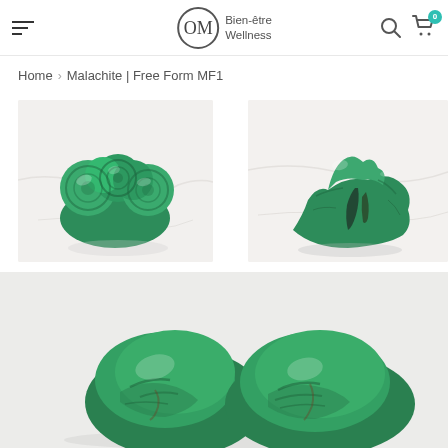OM Bien-être Wellness — navigation header with hamburger menu, logo, search and cart icons
Home > Malachite | Free Form MF1
[Figure (photo): Top-left photo of a malachite free form stone with rounded green bubbled surface on a white marble background]
[Figure (photo): Top-right photo of a malachite free form stone showing darker green with natural texture on a white marble background]
[Figure (photo): Bottom wide photo showing two malachite tumbled/free form stones with green swirling patterns on a light grey background]